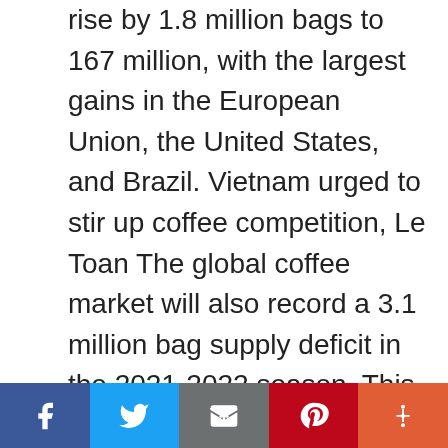rise by 1.8 million bags to 167 million, with the largest gains in the European Union, the United States, and Brazil. Vietnam urged to stir up coffee competition, Le Toan The global coffee market will also record a 3.1 million bag supply deficit in the 2021-2022 season. This is partly because top producer Brazil harvests a smaller off-season crop. Meanwhile, Vietnam's policy of coffee production has shifted to a new era with two objectives: to maintain its position as the world's second-largest producer and exporter of green coffee beans and to double the added value by increasing productivity, quality, and value addition. In the mid-1990s, the selling price of Vietnamese coffee at ports was
Social share bar: Facebook, Twitter, Email, Pinterest, More